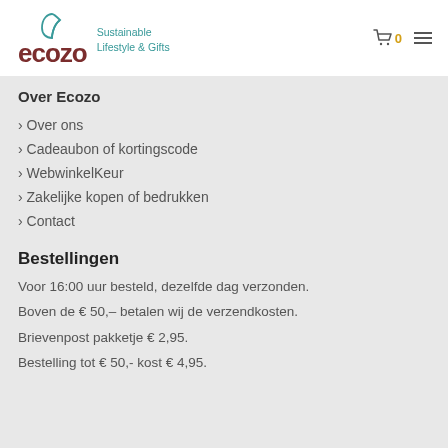ecozo – Sustainable Lifestyle & Gifts
Over Ecozo
› Over ons
› Cadeaubon of kortingscode
› WebwinkelKeur
› Zakelijke kopen of bedrukken
› Contact
Bestellingen
Voor 16:00 uur besteld, dezelfde dag verzonden.
Boven de € 50,– betalen wij de verzendkosten.
Brievenpost pakketje € 2,95.
Bestelling tot € 50,- kost € 4,95.